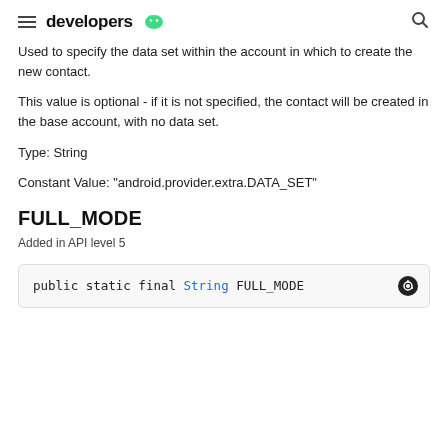developers
Used to specify the data set within the account in which to create the new contact.
This value is optional - if it is not specified, the contact will be created in the base account, with no data set.
Type: String
Constant Value: "android.provider.extra.DATA_SET"
FULL_MODE
Added in API level 5
public static final String FULL_MODE